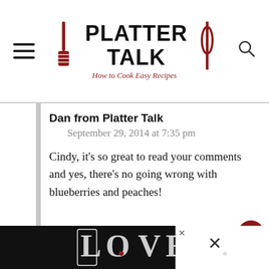PLATTER TALK — How to Cook Easy Recipes
Dan from Platter Talk
September 29, 2014 at 7:35 pm
Cindy, it's so great to read your comments and yes, there's no going wrong with blueberries and peaches!
[Figure (illustration): LOVE text art illustration with decorative letters at the bottom]
[Figure (screenshot): Ad overlay with close button at bottom right]